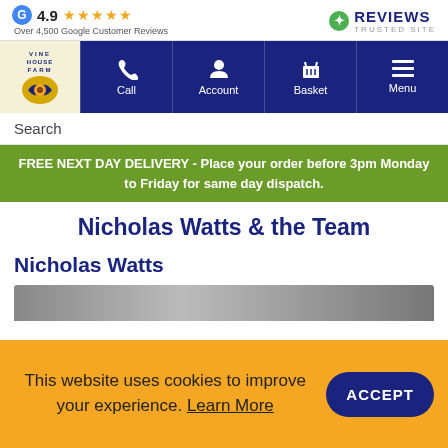G 4.9 ★★★★★ Over 4,500 Google Customer Reviews | REVIEWS TRUSTED SITE
[Figure (screenshot): Navigation bar with Vine House Farm logo, Call, Account, Basket, Menu icons on dark blue background]
Search
FREE NEXT DAY DELIVERY - Place your order before 3pm Monday to Friday for same day dispatch.
Nicholas Watts & the Team
Nicholas Watts
[Figure (photo): Partial photo of Nicholas Watts]
This website uses cookies to improve your experience. Learn More
ACCEPT